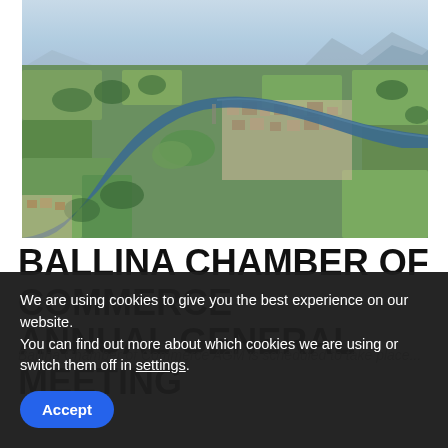[Figure (photo): Aerial photograph of Ballina, Ireland, showing the River Moy winding through the town, surrounded by green fields, residential areas, and mountains in the background under a hazy blue sky.]
BALLINA CHAMBER OF COMMERCE ANNUAL GENERAL MEETING
Ballina Chamber of Commerce AGM is scheduled to take place...
We are using cookies to give you the best experience on our website.
You can find out more about which cookies we are using or switch them off in settings.
Accept